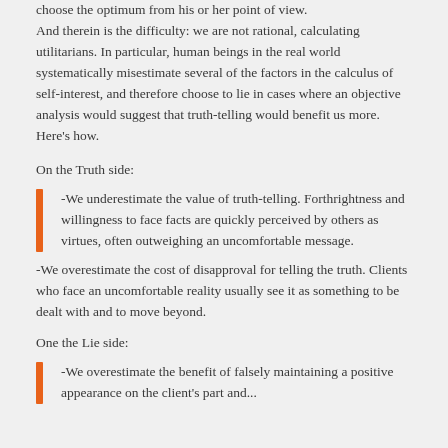The utilitarian advisor would simply weigh the two sides, and choose the optimum from his or her point of view. And therein is the difficulty: we are not rational, calculating utilitarians. In particular, human beings in the real world systematically misestimate several of the factors in the calculus of self-interest, and therefore choose to lie in cases where an objective analysis would suggest that truth-telling would benefit us more. Here’s how.
On the Truth side:
-We underestimate the value of truth-telling. Forthrightness and willingness to face facts are quickly perceived by others as virtues, often outweighing an uncomfortable message.
-We overestimate the cost of disapproval for telling the truth. Clients who face an uncomfortable reality usually see it as something to be dealt with and to move beyond.
One the Lie side:
-We overestimate the benefit of falsely maintaining a positive appearance on the client’s part and...